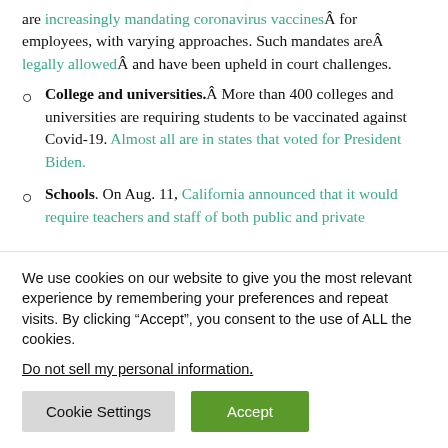are increasingly mandating coronavirus vaccinesÂ for employees, with varying approaches. Such mandates areÂ legally allowedÂ and have been upheld in court challenges.
College and universities.Â More than 400 colleges and universities are requiring students to be vaccinated against Covid-19. Almost all are in states that voted for President Biden.
Schools. On Aug. 11, California announced that it would require teachers and staff of both public and private
We use cookies on our website to give you the most relevant experience by remembering your preferences and repeat visits. By clicking “Accept”, you consent to the use of ALL the cookies.
Do not sell my personal information.